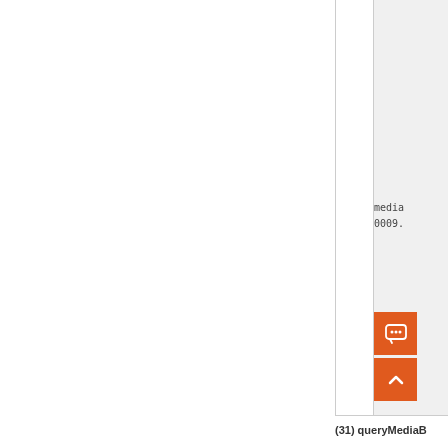mediaB 0009.
[Figure (illustration): Orange chat bubble button icon (square orange button with speech bubble icon with two dots)]
[Figure (illustration): Orange up-arrow button icon (square orange button with upward chevron/caret icon)]
(31) queryMediaB